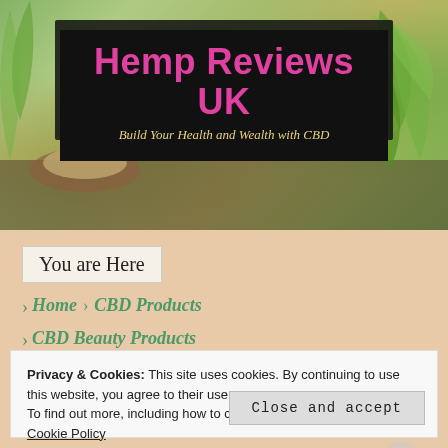[Figure (photo): Hemp/CBD products photo background showing green hemp leaves, hemp seeds, hemp oil in a glass jar, and hemp powder on a wooden spoon on a dark wooden surface]
Hemp Reviews UK
Build Your Health and Wealth with CBD
You are Here
Home > CBD Products
CBD Beauty Products
Privacy & Cookies: This site uses cookies. By continuing to use this website, you agree to their use.
To find out more, including how to control cookies, see here:
Cookie Policy
Close and accept